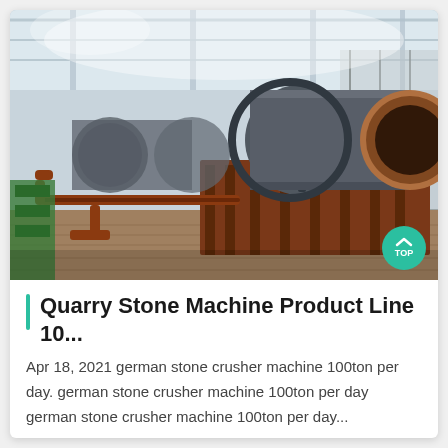[Figure (photo): Industrial ball mill or rotary drum machine inside a large factory/warehouse. The machine is a large horizontal cylindrical drum in dark grey metal with rust-colored steel support frame. Copper/red pipes run along the base. Background shows the factory interior with high ceiling and natural light.]
Quarry Stone Machine Product Line 10...
Apr 18, 2021 german stone crusher machine 100ton per day. german stone crusher machine 100ton per day german stone crusher machine 100ton per day...